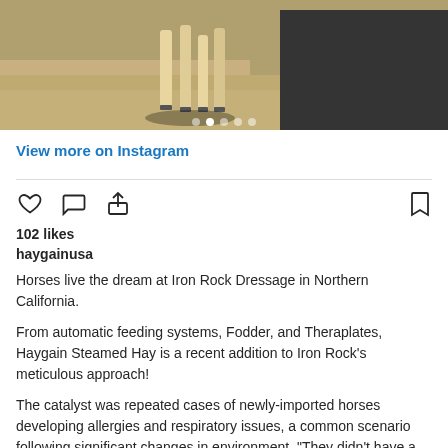[Figure (photo): Photo strip showing horse legs and hay bale, with carousel indicator dots at bottom]
View more on Instagram
[Figure (infographic): Instagram action icons: heart (like), speech bubble (comment), share arrow on left; bookmark on right]
102 likes
haygainusa
Horses live the dream at Iron Rock Dressage in Northern California.
From automatic feeding systems, Fodder, and Theraplates, Haygain Steamed Hay is a recent addition to Iron Rock's meticulous approach!
The catalyst was repeated cases of newly-imported horses developing allergies and respiratory issues, a common scenario following significant changes in environment. "They didn't have a cough when we first imported them, but after a while on dry hay, they developed them," Eleni Econopouly explains. "Some of them started to get a little hivey. We were soaking hay, but then